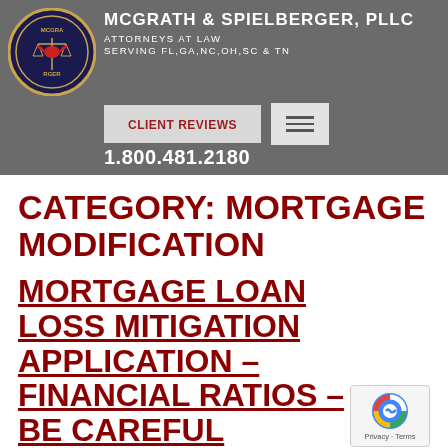McGrath & Spielberger, PLLC — Attorneys at Law — Serving FL,GA,NC,OH,SC & TN — CLIENT REVIEWS — 1.800.481.2180
CATEGORY: MORTGAGE MODIFICATION
MORTGAGE LOAN LOSS MITIGATION APPLICATION – FINANCIAL RATIOS – BE CAREFUL